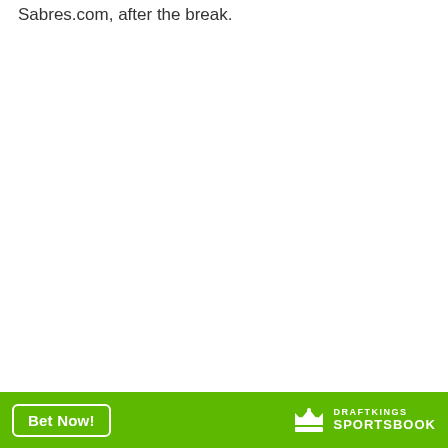Sabres.com, after the break.
[Figure (other): DraftKings Sportsbook advertisement banner with green background, 'Bet Now!' button, and DraftKings Sportsbook logo]